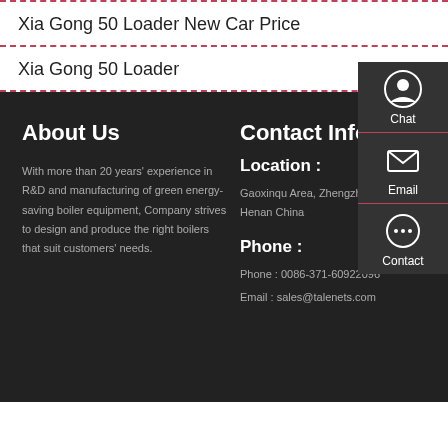Xia Gong 50 Loader New Car Price
Xia Gong 50 Loader
About Us
With more than 20 years' experience in R&D and manufacturing of green energy-saving boiler equipment, Company strives to design and produce the right boilers that suit customers' needs.
Contact Info
Location :
Gaoxinqu Area, Zhengzhou Henan China
Phone :
Phone : 0086-371-60922096
Email : sales@talenets.com
Chat
Email
Contact